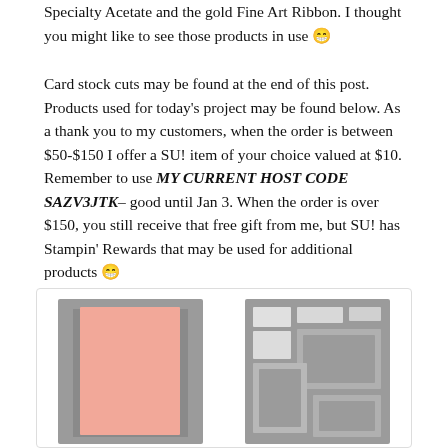Specialty Acetate and the gold Fine Art Ribbon. I thought you might like to see those products in use 😁
Card stock cuts may be found at the end of this post. Products used for today's project may be found below. As a thank you to my customers, when the order is between $50-$150 I offer a SU! item of your choice valued at $10. Remember to use MY CURRENT HOST CODE SAZV3JTK– good until Jan 3. When the order is over $150, you still receive that free gift from me, but SU! has Stampin' Rewards that may be used for additional products 😁
[Figure (illustration): Product image of Flirty Flamingo 8-1/2 x 11 cardstock showing a pink rectangle on gray background]
Flirty Flamingo 8-1/2" X 11"
[Figure (illustration): Product image of Rectangle Stitched Dies 151820 showing assorted rectangle die shapes on gray background]
Rectangle Stitched Dies   151820